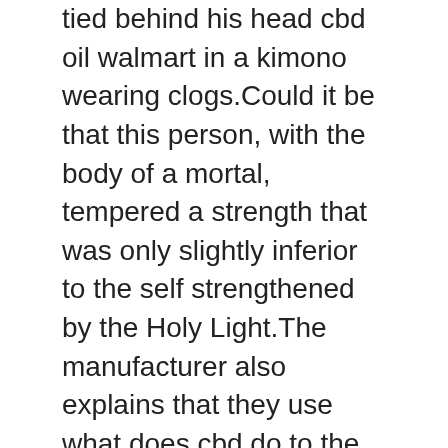tied behind his head cbd oil walmart in a kimono wearing clogs.Could it be that this person, with the body of a mortal, tempered a strength that was only slightly inferior to the self strengthened by the Holy Light.The manufacturer also explains that they use what does cbd do to the brain the Welcome To Buy cbd oil walmart co2 extraction process to draw the pure form of cbd compound from the plant and filter out impurities.That s because cb2 is part of an important class of receptors called 5 ht2a receptor, which helps increase the level of serotonin in your body.Reputed brands clearly mention their cbd content in their label.After Ryogo left, Ryosuke was so sad that in recent years he has pretended that his brother is still there and often speaks to the air Mrs. Tamiya what does cbd do to the brain Safely And Securely remembered it seriously, and fake cbd seemed to think of something Until one day, on the way home, Ryosuke suddenly cried very badly, saying